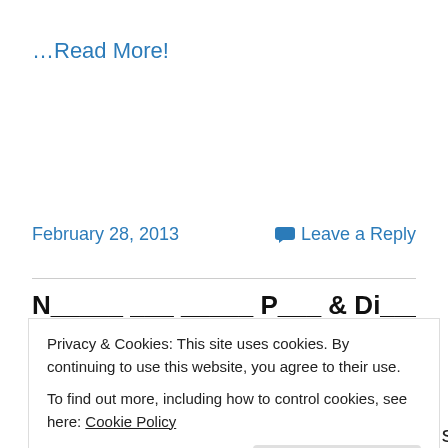…Read More!
February 28, 2013
Leave a Reply
Privacy & Cookies: This site uses cookies. By continuing to use this website, you agree to their use.
To find out more, including how to control cookies, see here: Cookie Policy
Close and accept
this) I have witnessed a Pope resign from service! It sure